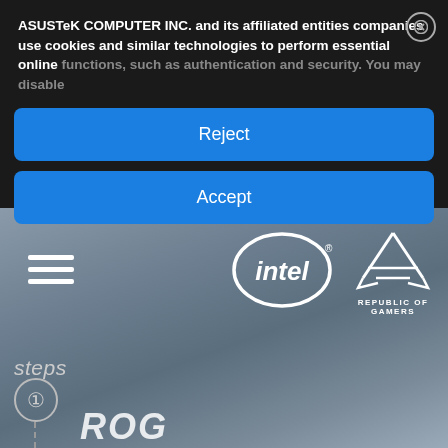ASUSTeK COMPUTER INC. and its affiliated entities companies use cookies and similar technologies to perform essential online functions, such as authentication and security. You may disable
Reject
Accept
[Figure (logo): Intel logo - white oval with 'intel' text inside on dark grey background]
[Figure (logo): ROG - Republic of Gamers logo in white on dark grey background]
steps
①
[Figure (screenshot): ASUS ROG website screenshot showing cookie consent dialog overlay on top of a dark grey cloudy background with Intel and ROG logos visible]